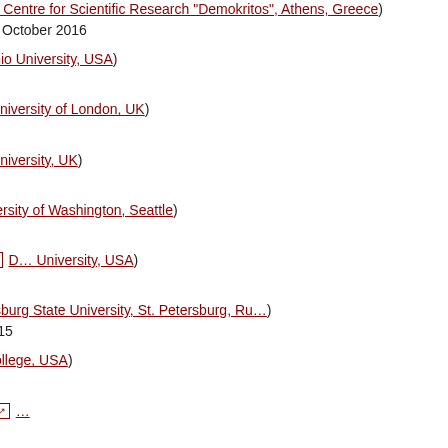Dr. Astero Provata ( [ext] National Centre for Scientific Research "Demokritos", Athens, Greece) November 2013, October 2014, October 2016
Prof. Alexander Neiman ( [ext] Ohio University, USA) July 2015
Paul Geffert ( [ext] Queen Mary University of London, UK) June - August 2015
Prof. Michael Stich ( [ext] Aston University, UK) June - July 2015
Alexander Thompson ( [ext] University of Washington, Seattle) June - September 2015 (RISE)
Prof. Dr. Stephen Teitsworth ( [ext] Duke University, USA) June 2015
Sergey Plotnikov ( [ext] St. Petersburg State University, St. Petersburg, Russia) April - May 2014, April - May 2015
Natalia Spitha ( [ext] Davidson College, USA) March - July 2015
Prof. Dr. Sriram Ramaswamy ( [ext] ...